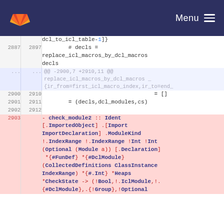GitLab Menu
Code diff showing lines 2887-2912 with context and a removed function signature for check_module2
[Figure (screenshot): GitLab diff view showing code changes in a source file, lines 2887-2912 and a removed block starting at 2903]